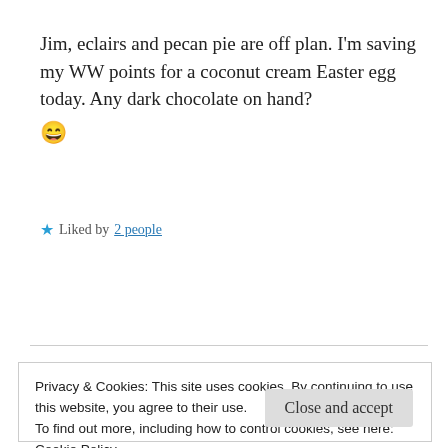Jim, eclairs and pecan pie are off plan. I'm saving my WW points for a coconut cream Easter egg today. Any dark chocolate on hand? 😄
★ Liked by 2 people
Reply
Privacy & Cookies: This site uses cookies. By continuing to use this website, you agree to their use.
To find out more, including how to control cookies, see here:
Cookie Policy
Close and accept